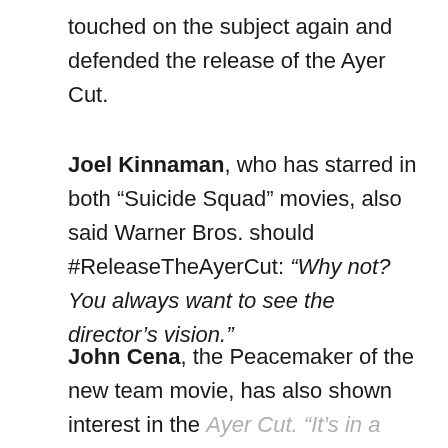touched on the subject again and defended the release of the Ayer Cut.
Joel Kinnaman, who has starred in both “Suicide Squad” movies, also said Warner Bros. should #ReleaseTheAyerCut: “Why not? You always want to see the director’s vision.”
John Cena, the Peacemaker of the new team movie, has also shown interest in the Ayer Cut. “It’s in a company’s best interest to listen to their audience. If it’s in demand and